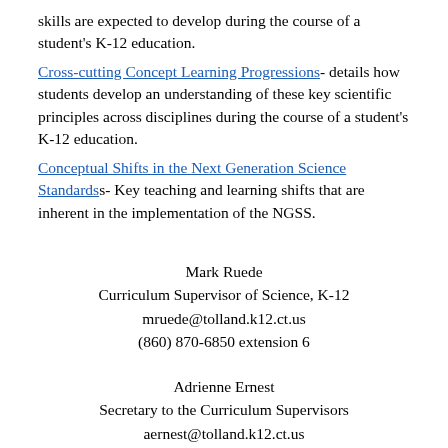skills are expected to develop during the course of a student's K-12 education.
Cross-cutting Concept Learning Progressions- details how students develop an understanding of these key scientific principles across disciplines during the course of a student's K-12 education.
Conceptual Shifts in the Next Generation Science Standards- Key teaching and learning shifts that are inherent in the implementation of the NGSS.
Mark Ruede
Curriculum Supervisor of Science, K-12
mruede@tolland.k12.ct.us
(860) 870-6850 extension 6
Adrienne Ernest
Secretary to the Curriculum Supervisors
aernest@tolland.k12.ct.us
(860) 870-6850 extension 6